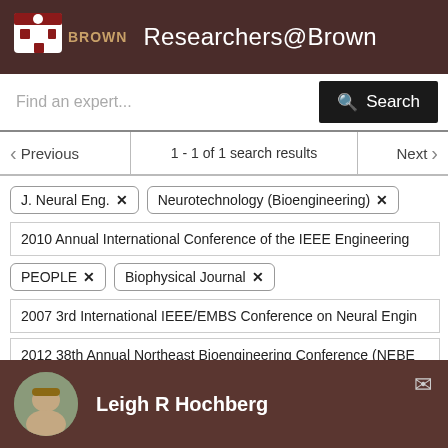Researchers@Brown
Find an expert...
1 - 1 of 1 search results
J. Neural Eng. ✕
Neurotechnology (Bioengineering) ✕
2010 Annual International Conference of the IEEE Engineering
PEOPLE ✕
Biophysical Journal ✕
2007 3rd International IEEE/EMBS Conference on Neural Engin
2012 38th Annual Northeast Bioengineering Conference (NEBE
Leigh R Hochberg